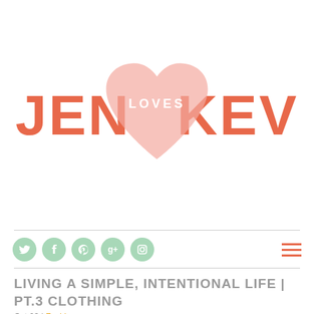[Figure (logo): Jen Loves Kev blog logo with coral/orange stylized text JEN and KEV on either side of a large pink heart shape with LOVES written in white across the center]
[Figure (infographic): Navigation bar with 5 green circular social media icons (Twitter, Facebook, Pinterest, Google+, Instagram) on the left and a coral hamburger menu icon on the right]
LIVING A SIMPLE, INTENTIONAL LIFE | PT.3 CLOTHING
Oct 03 | Fashion
I will be the first to admit I am a clothes hoarder. I love sales, the clearance rack and I keep clothes forever! I still have (had- just got rid of them) clothes in my closet from when I was in college (10 years ago). I